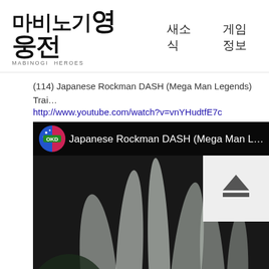마비노기 영웅전 MABINOGI HEROES | 새소식 | 게임정보
(114) Japanese Rockman DASH (Mega Man Legends) Trai…
http://www.youtube.com/watch?v=vnYHudtfE7c
[Figure (screenshot): YouTube video thumbnail screenshot showing 'Japanese Rockman DASH (Mega Man L…' with OKD channel badge, eject button overlay, and dark background with white plant/crystal imagery]